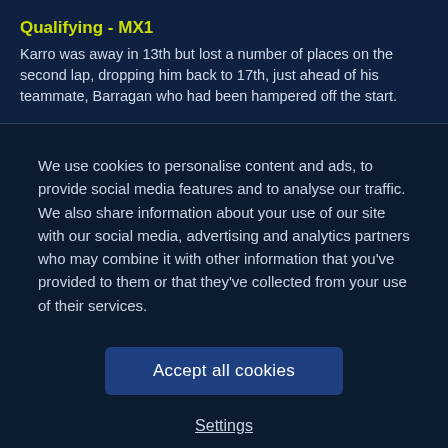Qualifying - MX1
Karro was away in 13th but lost a number of places on the second lap, dropping him back to 17th, just ahead of his teammate, Barragan who had been hampered off the start.
We use cookies to personalise content and ads, to provide social media features and to analyse our traffic. We also share information about your use of our site with our social media, advertising and analytics partners who may combine it with other information that you've provided to them or that they've collected from your use of their services.
Accept all cookies
Settings